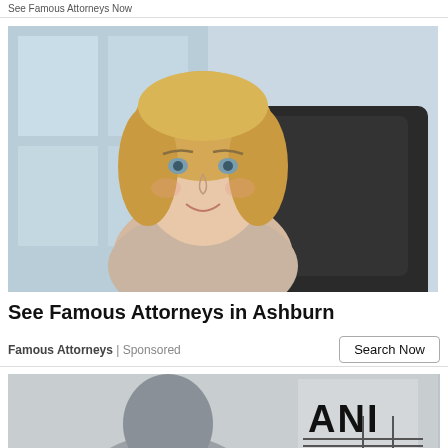See Famous Attorneys Now
[Figure (photo): Professional blonde woman attorney sitting in a black leather chair in an office setting, smiling at camera]
See Famous Attorneys in Ashburn
Famous Attorneys | Sponsored
[Figure (photo): Partial photo of a person with ANI logo/watermark visible in upper right corner]